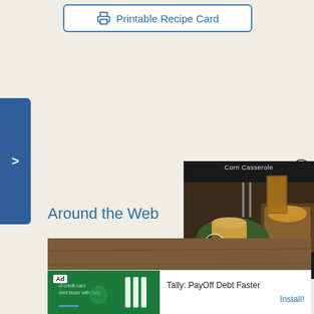Printable Recipe Card
[Figure (screenshot): Blue side navigation tab with > arrow]
[Figure (other): Loading spinner circle in center of page]
Around the Web
[Figure (screenshot): Video overlay showing corn casserole food image with play button and title 'Corn Casserole']
[Figure (photo): Food/recipe content image showing brown wooden surface with a bowl]
Ad
Tally: PayOff Debt Faster
Install!